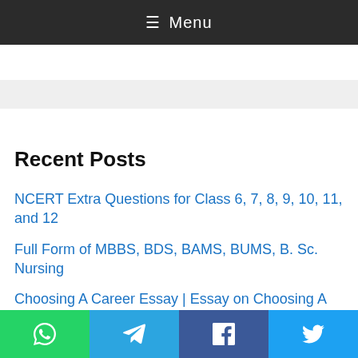≡ Menu
Recent Posts
NCERT Extra Questions for Class 6, 7, 8, 9, 10, 11, and 12
Full Form of MBBS, BDS, BAMS, BUMS, B. Sc. Nursing
Choosing A Career Essay | Essay on Choosing A Career for Students and Children in English